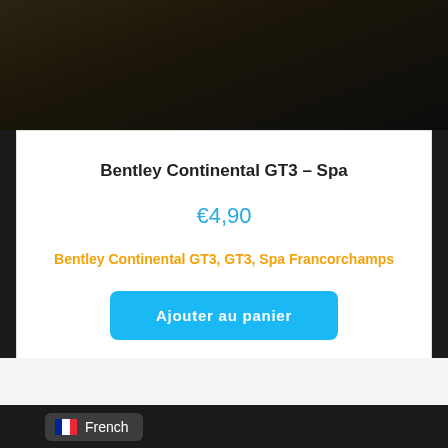[Figure (photo): Dark top image area showing a Bentley Continental GT3 car in dim/dark lighting]
Bentley Continental GT3 – Spa
€4,90
Bentley Continental GT3, GT3, Spa Francorchamps
Ajouter au panier
French